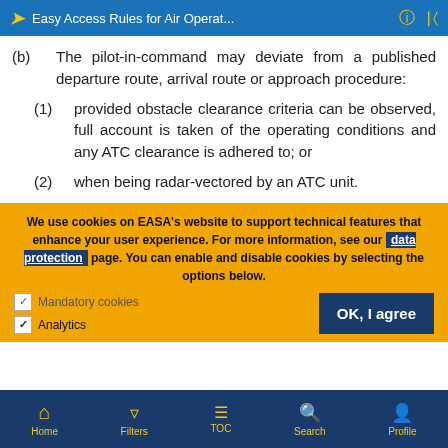Easy Access Rules for Air Operat...
(b) The pilot-in-command may deviate from a published departure route, arrival route or approach procedure:
(1) provided obstacle clearance criteria can be observed, full account is taken of the operating conditions and any ATC clearance is adhered to; or
(2) when being radar-vectored by an ATC unit.
We use cookies on EASA's website to support technical features that enhance your user experience. For more information, see our data protection page. You can enable and disable cookies by selecting the options below.
Mandatory cookies
Analytics
Home | Filters | TOC | Search | Profile